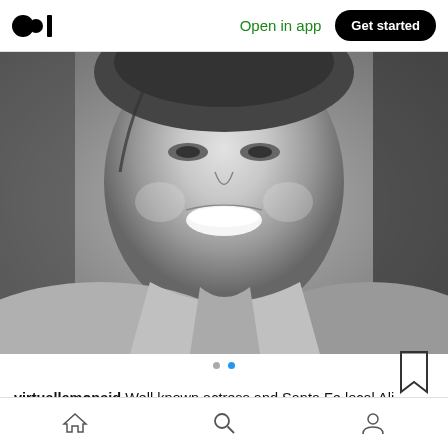Medium logo | Open in app | Get started
[Figure (photo): Black and white close-up portrait of a smiling woman, apparently Ali Macgraw, wearing a collared shirt]
virtuallemonaid Well known actress and Santa Fe local Ali Macgraw contributed a beautiful reading of the poem "We
Home | Search | Profile navigation icons